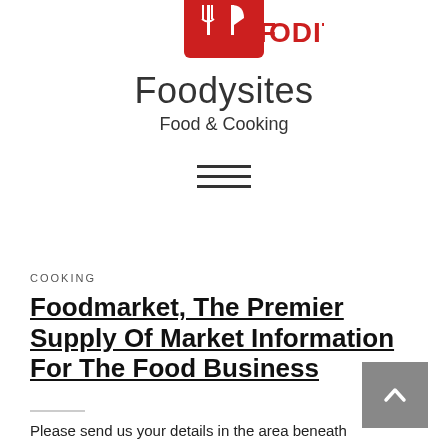[Figure (logo): FoodIt logo - red square with fork and knife icon, partially cropped at top, red text 'FOODIT' partially visible]
Foodysites
Food & Cooking
[Figure (other): Hamburger menu icon with three horizontal lines]
COOKING
Foodmarket, The Premier Supply Of Market Information For The Food Business
Please send us your details in the area beneath